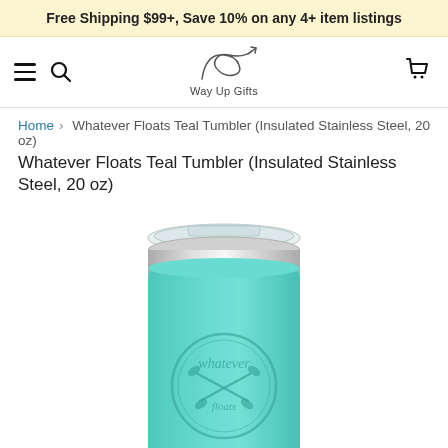Free Shipping $99+, Save 10% on any 4+ item listings
[Figure (logo): Way Up Gifts logo with cursive swirl and arrow design above text 'Way Up Gifts']
Home > Whatever Floats Teal Tumbler (Insulated Stainless Steel, 20 oz)
Whatever Floats Teal Tumbler (Insulated Stainless Steel, 20 oz)
[Figure (photo): Teal stainless steel insulated tumbler (20 oz) with clear lid and silver rim, featuring a circular laser-engraved 'whatever floats' design with crossed paddles on the front.]